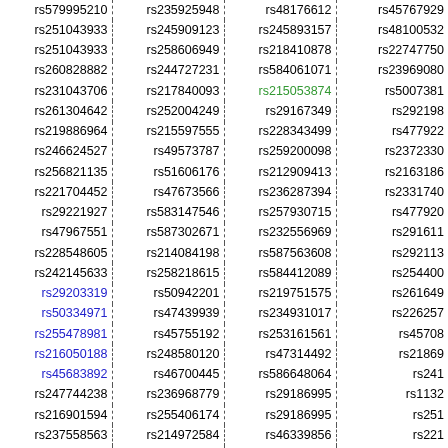| rs579995210 | rs235925948 | rs48176612 | rs45767929 |
| rs251043933 | rs245909123 | rs245893157 | rs48100532 |
| rs251043933 | rs258606949 | rs218410878 | rs22747750 |
| rs260828882 | rs244727231 | rs584061071 | rs23969080 |
| rs231043706 | rs217840093 | rs215053874 | rs5007381 |
| rs261304642 | rs252004249 | rs29167349 | rs292198 |
| rs219886964 | rs215597555 | rs228343499 | rs477922 |
| rs246624527 | rs49573787 | rs259200098 | rs2372330 |
| rs256821135 | rs51606176 | rs212909413 | rs2163186 |
| rs221704452 | rs47673566 | rs236287394 | rs2331740 |
| rs29221927 | rs583147546 | rs257930715 | rs477920 |
| rs47967551 | rs587302671 | rs232556969 | rs291611 |
| rs228548605 | rs214084198 | rs587563608 | rs292113 |
| rs242145633 | rs258218615 | rs584412089 | rs254400 |
| rs29203319 | rs50942201 | rs219751575 | rs261649 |
| rs50334971 | rs47439939 | rs234931017 | rs226257 |
| rs255478981 | rs45755192 | rs253161561 | rs45708 |
| rs216050188 | rs248580120 | rs47314492 | rs21869 |
| rs45683892 | rs46700445 | rs586648064 | rs241 |
| rs247744238 | rs236968779 | rs29186995 | rs1132 |
| rs216901594 | rs255406174 | rs29186995 | rs251 |
| rs237558563 | rs214972584 | rs46339856 | rs221 |
| rs49127530 | rs226994814 | rs256399430 | rs24 |
| rs52637995 | rs48604538 | rs251632586 | rs26 |
| rs49635946 | rs29177733 | rs213707832 | rs25 |
| rs250912353 | rs220825716 | rs234972280 | rs2 |
| rs221632886 | rs49235869 | rs252994811 | rs2 |
| rs233580831 | rs263789162 | rs387328695 | rs1 |